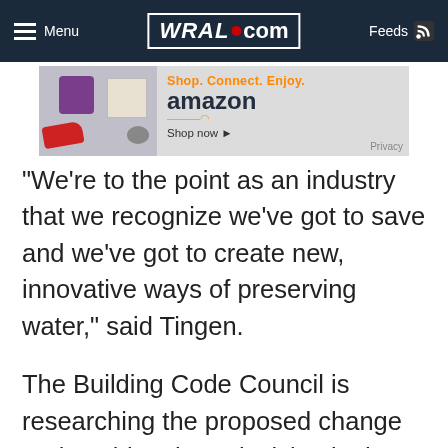Menu | WRAL.com | Feeds
[Figure (screenshot): Amazon advertisement banner: Shop. Connect. Enjoy. amazon Shop now > Privacy]
"We're to the point as an industry that we recognize we've got to save and we've got to create new, innovative ways of preserving water," said Tingen.
The Building Code Council is researching the proposed change and could make a decision in the next six months, Tingen said.
Bost said that the system of reusing